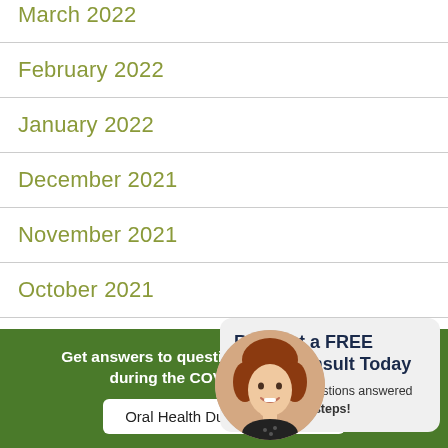March 2022
February 2022
January 2022
December 2021
November 2021
October 2021
September
August
[Figure (illustration): Popup card with circular portrait of a smiling woman with red hair, titled 'Request a FREE Video Consult Today', with text 'Get all your questions answered in three easy steps!']
Get answers to questions about dental work during the COVID-19 Pandemic
Oral Health During COVID-19